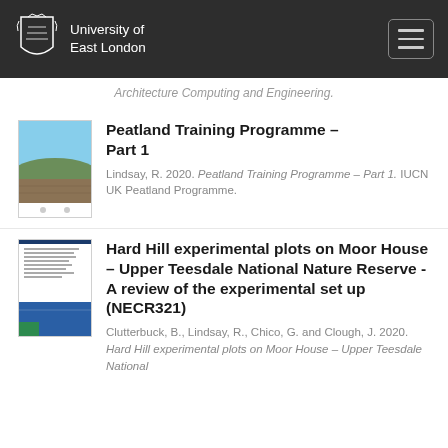University of East London
Architecture Computing and Engineering.
Peatland Training Programme – Part 1
Lindsay, R. 2020. Peatland Training Programme – Part 1. IUCN UK Peatland Programme.
Hard Hill experimental plots on Moor House – Upper Teesdale National Nature Reserve - A review of the experimental set up (NECR321)
Clutterbuck, B., Lindsay, R., Chico, G. and Clough, J. 2020. Hard Hill experimental plots on Moor House – Upper Teesdale National Nature Reserve...